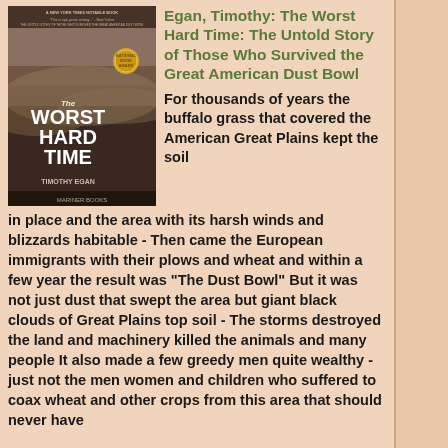[Figure (photo): Book cover of 'The Worst Hard Time' by Timothy Egan. Shows stormy brown sky with large text 'THE WORST HARD TIME' and author name 'TIMOTHY EGAN' at bottom. A gold medal seal is visible. Small text at top reads 'A New York Times Notable Book'.]
Egan, Timothy: The Worst Hard Time: The Untold Story of Those Who Survived the Great American Dust Bowl
For thousands of years the buffalo grass that covered the American Great Plains kept the soil in place and the area with its harsh winds and blizzards habitable - Then came the European immigrants with their plows and wheat and within a few year the result was "The Dust Bowl" But it was not just dust that swept the area but giant black clouds of Great Plains top soil - The storms destroyed the land and machinery killed the animals and many people It also made a few greedy men quite wealthy - just not the men women and children who suffered to coax wheat and other crops from this area that should never have